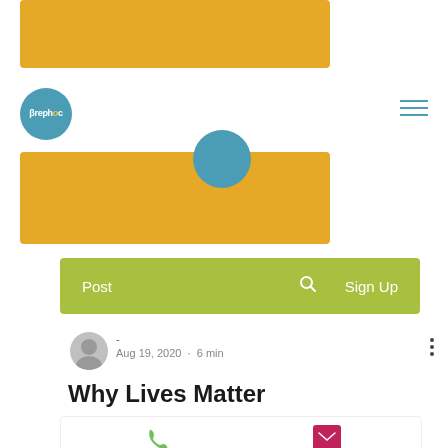[Figure (illustration): Golden/amber colored banner rectangle at top of page]
[Figure (logo): Brephos logo: teal circle with white Greek text and yellow dot]
[Figure (illustration): Hamburger menu icon with three teal horizontal lines]
[Figure (illustration): Teal semicircle avatar peeking above second golden banner]
[Figure (illustration): Second golden/amber banner rectangle]
[Figure (screenshot): Green navigation bar with Post, search icon, and Sign Up]
[Figure (illustration): Author avatar gray circle with person silhouette]
- Aug 19, 2020 · 6 min
Why Lives Matter
[Figure (illustration): Bottom contact bar with Phone and Email buttons]